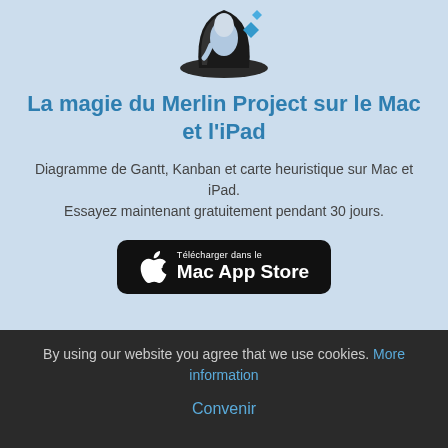[Figure (logo): Merlin Project wizard hat mascot logo in blue and dark tones with a blue diamond shape]
La magie du Merlin Project sur le Mac et l'iPad
Diagramme de Gantt, Kanban et carte heuristique sur Mac et iPad.
Essayez maintenant gratuitement pendant 30 jours.
[Figure (screenshot): Mac App Store download button with Apple logo]
By using our website you agree that we use cookies. More information
Convenir